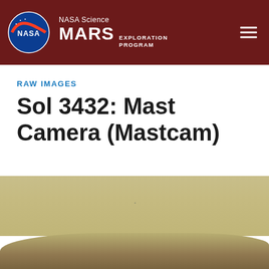NASA Science MARS EXPLORATION PROGRAM
RAW IMAGES
Sol 3432: Mast Camera (Mastcam)
[Figure (photo): Raw image from Mars Curiosity rover Mastcam showing a hazy beige-tan Martian sky with a dark ground shadow at the bottom of the frame]